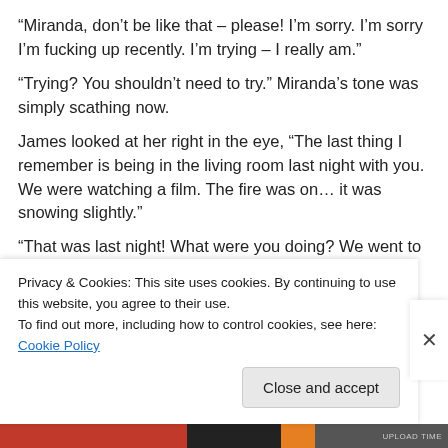“Miranda, don’t be like that – please! I’m sorry. I’m sorry I’m fucking up recently. I’m trying – I really am.”
“Trying? You shouldn’t need to try.” Miranda’s tone was simply scathing now.
James looked at her right in the eye, “The last thing I remember is being in the living room last night with you. We were watching a film. The fire was on… it was snowing slightly.”
“That was last night! What were you doing? We went to bed! Don’t you remember that?”
James shook his head. “No… no I don’t.”
Privacy & Cookies: This site uses cookies. By continuing to use this website, you agree to their use.
To find out more, including how to control cookies, see here: Cookie Policy